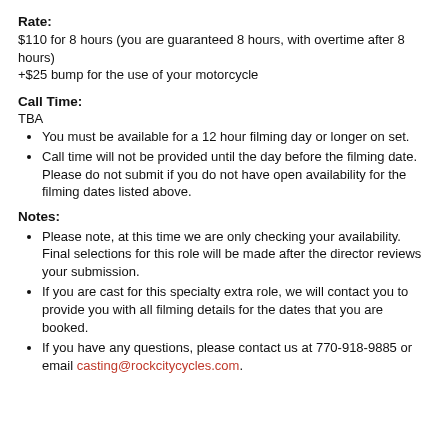Rate:
$110 for 8 hours (you are guaranteed 8 hours, with overtime after 8 hours)
+$25 bump for the use of your motorcycle
Call Time:
TBA
You must be available for a 12 hour filming day or longer on set.
Call time will not be provided until the day before the filming date. Please do not submit if you do not have open availability for the filming dates listed above.
Notes:
Please note, at this time we are only checking your availability. Final selections for this role will be made after the director reviews your submission.
If you are cast for this specialty extra role, we will contact you to provide you with all filming details for the dates that you are booked.
If you have any questions, please contact us at 770-918-9885 or email casting@rockcitycycles.com.